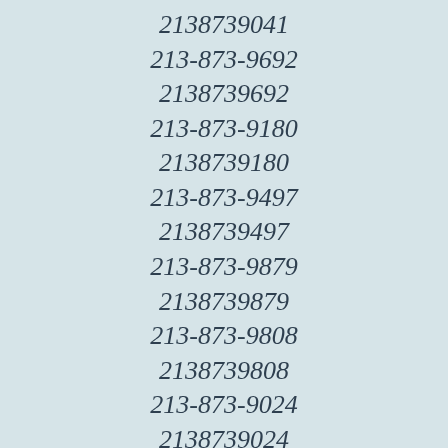2138739041
213-873-9692
2138739692
213-873-9180
2138739180
213-873-9497
2138739497
213-873-9879
2138739879
213-873-9808
2138739808
213-873-9024
2138739024
213-873-9972
2138739972
213-873-9956